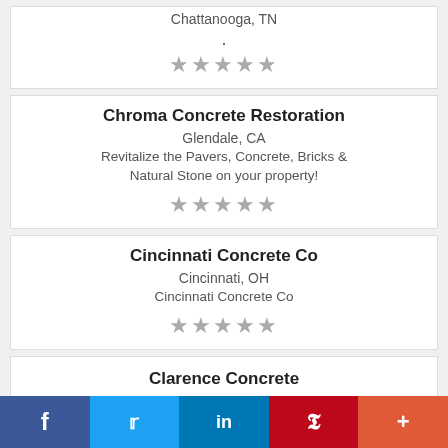Chattanooga, TN
.
★★★★★
Chroma Concrete Restoration
Glendale, CA
Revitalize the Pavers, Concrete, Bricks & Natural Stone on your property!
★★★★★
Cincinnati Concrete Co
Cincinnati, OH
Cincinnati Concrete Co
★★★★★
Clarence Concrete
f  t  in  P  +